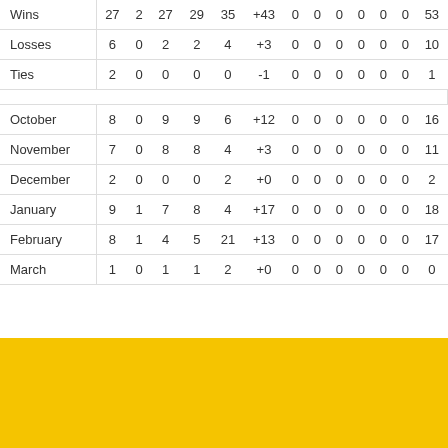|  |  |  |  |  |  |  |  |  |  |  |  |  |  |
| --- | --- | --- | --- | --- | --- | --- | --- | --- | --- | --- | --- | --- | --- |
| Wins | 27 | 2 | 27 | 29 | 35 | +43 | 0 | 0 | 0 | 0 | 0 | 0 | 53 |
| Losses | 6 | 0 | 2 | 2 | 4 | +3 | 0 | 0 | 0 | 0 | 0 | 0 | 10 |
| Ties | 2 | 0 | 0 | 0 | 0 | -1 | 0 | 0 | 0 | 0 | 0 | 0 | 1 |
| October | 8 | 0 | 9 | 9 | 6 | +12 | 0 | 0 | 0 | 0 | 0 | 0 | 16 |
| November | 7 | 0 | 8 | 8 | 4 | +3 | 0 | 0 | 0 | 0 | 0 | 0 | 11 |
| December | 2 | 0 | 0 | 0 | 2 | +0 | 0 | 0 | 0 | 0 | 0 | 0 | 2 |
| January | 9 | 1 | 7 | 8 | 4 | +17 | 0 | 0 | 0 | 0 | 0 | 0 | 18 |
| February | 8 | 1 | 4 | 5 | 21 | +13 | 0 | 0 | 0 | 0 | 0 | 0 | 17 |
| March | 1 | 0 | 1 | 1 | 2 | +0 | 0 | 0 | 0 | 0 | 0 | 0 | 0 |
[Figure (infographic): Social sharing buttons: Facebook (blue), Twitter (light blue), Email (gray), Print (purple), Add/Plus (orange-red)]